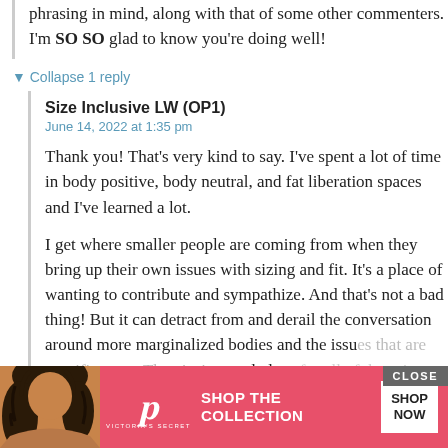phrasing in mind, along with that of some other commenters. I'm SO SO glad to know you're doing well!
▼ Collapse 1 reply
Size Inclusive LW (OP1)
June 14, 2022 at 1:35 pm
Thank you! That's very kind to say. I've spent a lot of time in body positive, body neutral, and fat liberation spaces and I've learned a lot.
I get where smaller people are coming from when they bring up their own issues with sizing and fit. It's a place of wanting to contribute and sympathize. And that's not a bad thing! But it can detract from and derail the conversation around more marginalized bodies and the issues that are specific to us. There's time and place for all of these issues
[Figure (screenshot): Victoria's Secret advertisement overlay with pink background, model photo on left, VS logo, 'SHOP THE COLLECTION' text, 'SHOP NOW' button, and 'CLOSE' button in top right corner]